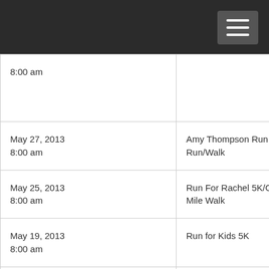| Date | Event |
| --- | --- |
| 8:00 am |  |
| May 27, 2013
8:00 am | Amy Thompson Run 8K Run/Walk |
| May 25, 2013
8:00 am | Run For Rachel 5K/One Mile Walk |
| May 19, 2013
8:00 am | Run for Kids 5K |
| May 18, 2013
8:00 am | Miles Against Melanoma 5K |